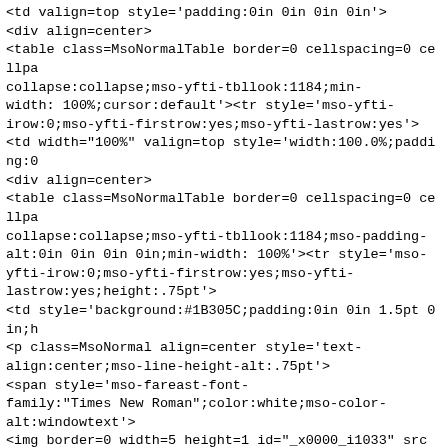<td valign=top style='padding:0in 0in 0in 0in'>
<div align=center>
<table class=MsoNormalTable border=0 cellspacing=0 cellpa
collapse:collapse;mso-yfti-tbllook:1184;min-
width: 100%;cursor:default'><tr style='mso-yfti-
irow:0;mso-yfti-firstrow:yes;mso-yfti-lastrow:yes'>
<td width="100%" valign=top style='width:100.0%;padding:0
<div align=center>
<table class=MsoNormalTable border=0 cellspacing=0 cellpa
collapse:collapse;mso-yfti-tbllook:1184;mso-padding-
alt:0in 0in 0in 0in;min-width: 100%'><tr style='mso-
yfti-irow:0;mso-yfti-firstrow:yes;mso-yfti-
lastrow:yes;height:.75pt'>
<td style='background:#1B305C;padding:0in 0in 1.5pt 0in;h
<p class=MsoNormal align=center style='text-
align:center;mso-line-height-alt:.75pt'>
<span style='mso-fareast-font-
family:"Times New Roman";color:white;mso-color-
alt:windowtext'>
<img border=0 width=5 height=1 id="_x0000_i1033" src="htt
</span><span style='mso-fareast-font-
family:"Times New Roman"'><o:p></o:p></span></p></td>
</tr></table></div></td></tr></table></div></td></tr>
</table></td></tr></table></div></td></tr></table>
</div></td></tr></table></div></td></tr></table></div>
<p class=MsoNormal><span style='mso-ascii-font-
family:Calibri;mso-hansi-font-family:Calibri;mso-bidi-
font-family:"Times New Roman"'><o:p> </o:p></span></p>
<p class=MsoNormal><span style='mso-ascii-font-
family:Calibri;mso-hansi-font-family:Calibri;mso-bidi-
font-family:"Times New Roman"'><o:p> </o:p></span></p>